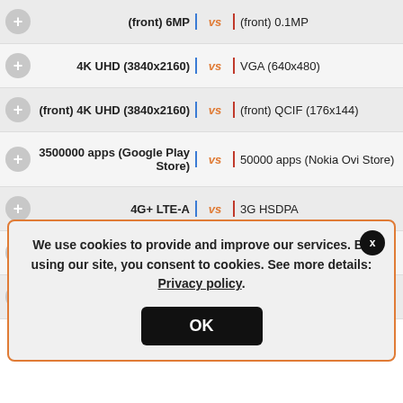|  | Left | vs | Right |
| --- | --- | --- | --- |
| + | (front) 6MP | vs | (front) 0.1MP |
| + | 4K UHD (3840x2160) | vs | VGA (640x480) |
| + | (front) 4K UHD (3840x2160) | vs | (front) QCIF (176x144) |
| + | 3500000 apps (Google Play Store) | vs | 50000 apps (Nokia Ovi Store) |
| + | 4G+ LTE-A | vs | 3G HSDPA |
| + | (4G+ LTE-A) 1500 Mbps | vs | (3G HSDPA) 3.6 Mbps |
| + | Capacitive | vs | Resistive |
We use cookies to provide and improve our services. By using our site, you consent to cookies. See more details: Privacy policy.
OK